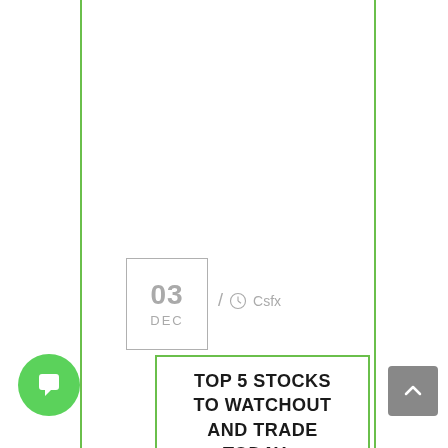03 DEC / Csfx
TOP 5 STOCKS TO WATCHOUT AND TRADE TODAY –